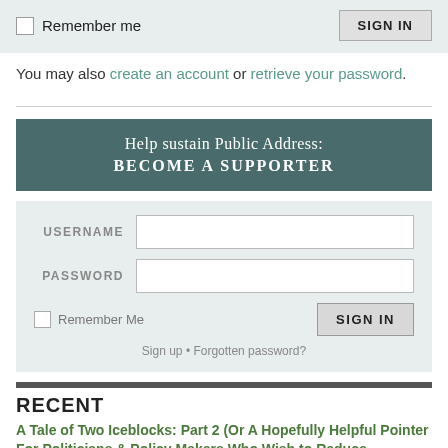Remember me   SIGN IN
You may also create an account or retrieve your password.
Help sustain Public Address: BECOME A SUPPORTER
[Figure (screenshot): Login form with USERNAME and PASSWORD fields, Remember Me checkbox, SIGN IN button, and Sign up / Forgotten password links]
RECENT
A Tale of Two Iceblocks: Part 2 (Or A Hopefully Helpful Pointer For Politicians & Policy Makers Who Wish to Reduce Greenhouse Gas Emissions)
A Tale of Two Iceblocks: Part 1 (Or How Analysis of Greenhouse Gas Emissions in New Zealand Can